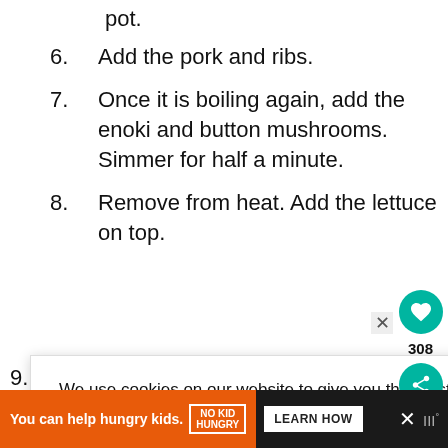pot.
Add the pork and ribs.
Once it is boiling again, add the enoki and button mushrooms. Simmer for half a minute.
Remove from heat. Add the lettuce on top.
[partially obscured] th in a
[partially obscured] utiao,
We use cookies on our website to give you the most relevant experience by remembering your preferences and repeat visits. By clicking "ACCEPT ALL", you consent to the use of ALL the cookies. However, you may visit "Cookie Settings" to provide a controlled consent.
Cookie Settings  REJECT ALL  ACCEPT ALL
[Figure (infographic): Bottom ad banner: orange bar with No Kid Hungry logo, text 'You can help hungry kids.' and 'LEARN HOW' button on dark background]